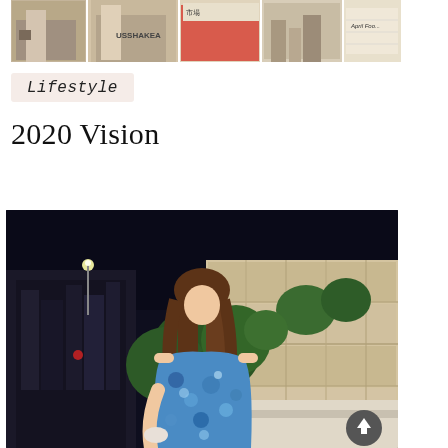[Figure (photo): Horizontal strip photo at top showing travel/lifestyle collage with multiple images and text including what appears to be travel destinations]
Lifestyle
2020 Vision
[Figure (photo): Woman in blue floral off-shoulder dress standing outdoors at night near stone wall and greenery, city lights visible in background. A scroll-to-top button is visible in the bottom right corner.]